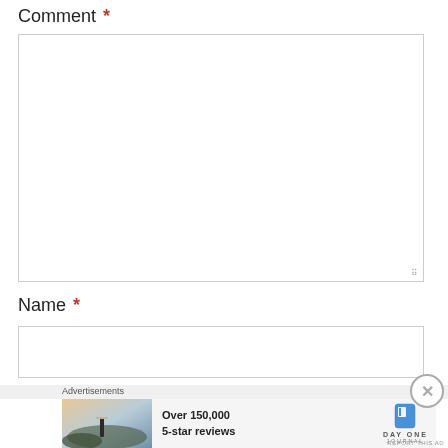Comment *
[Figure (screenshot): Empty comment textarea input field with resize handle at bottom right]
Name *
[Figure (screenshot): Empty name text input field]
Advertisements
[Figure (other): Advertisement banner: photo of person on hilltop, text 'Over 150,000 5-star reviews', Day One Journal logo]